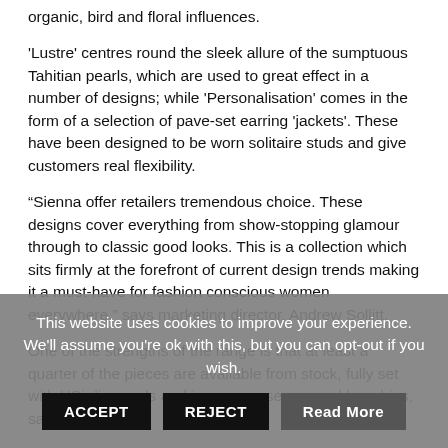organic, bird and floral influences.
'Lustre' centres round the sleek allure of the sumptuous Tahitian pearls, which are used to great effect in a number of designs; while 'Personalisation' comes in the form of a selection of pave-set earring 'jackets'. These have been designed to be worn solitaire studs and give customers real flexibility.
“Sienna offer retailers tremendous choice. These designs cover everything from show-stopping glamour through to classic good looks. This is a collection which sits firmly at the forefront of current design trends making it a must-have for fashion conscious women everywhere,” says marketing director, Andrew Sollitt.
One of the strengths of the range is that at least a quarter of the pieces are available from stock, fully set with HSi diamonds and in some cases emeralds, rubies, sapphires
This website uses cookies to improve your experience. We'll assume you're ok with this, but you can opt-out if you wish.
ACCEPT   REJECT   Read More